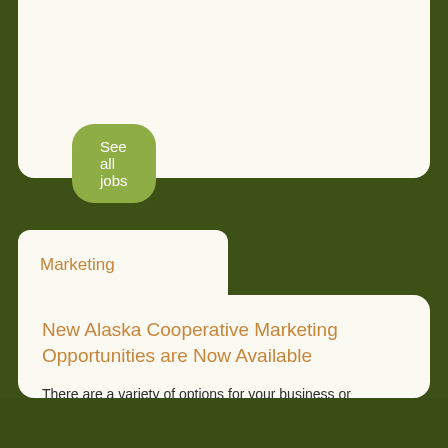See all jobs
Marketing
New Alaska Cooperative Marketing Opportunities are Now Available
There are a variety of options for your business or organization to leverage Alaska's national marketing campaign to reach highly qualified potential visitors. See what's available on the Coop Marketing Programs page.